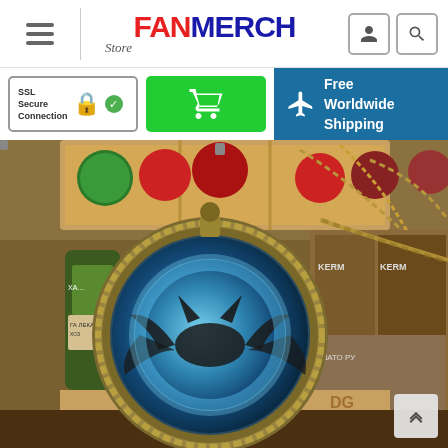FanMerch Store - header with hamburger menu, logo, user and search icons
[Figure (screenshot): SSL Secure Connection badge, green cart button, and Free Worldwide Shipping banner]
[Figure (photo): Batman logo pocket watch necklace with glowing blue Batman symbol on bronze ornate case, resting against a wooden crate with colorful ornaments and product boxes in background]